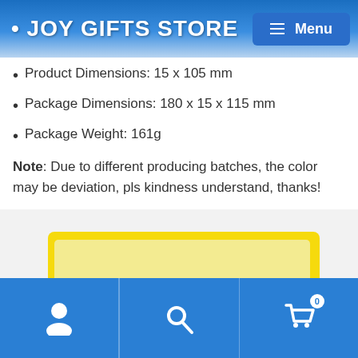JOY GIFTS STORE
Product Dimensions: 15 x 105 mm
Package Dimensions: 180 x 15 x 115 mm
Package Weight: 161g
Note: Due to different producing batches, the color may be deviation, pls kindness understand, thanks!
[Figure (photo): Colorful marker pens in a yellow zip case, arranged diagonally showing multicolor caps including red, pink, orange, yellow, green, blue, and purple markers with black and white label bands]
Navigation footer with user icon, search icon, and shopping cart icon with badge showing 0